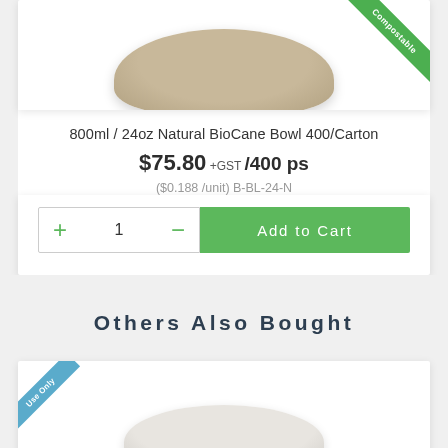[Figure (photo): Top portion of a natural BioCane bowl with a green 'Compostable' ribbon banner in the top-right corner]
800ml / 24oz Natural BioCane Bowl 400/Carton
$75.80 +GST /400 ps
($0.188 /unit) B-BL-24-N
+ 1 −  Add to Cart
Others Also Bought
[Figure (photo): Bottom portion of a white/light bowl with a blue 'Use Only' ribbon banner in the top-left corner]